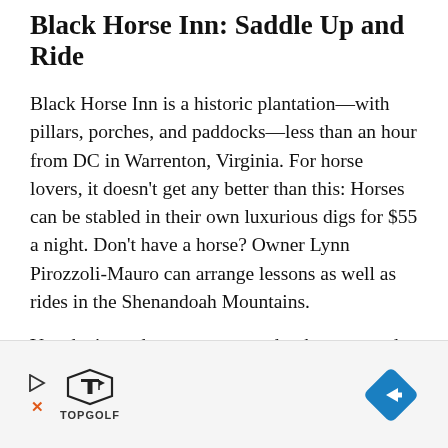Black Horse Inn: Saddle Up and Ride
Black Horse Inn is a historic plantation—with pillars, porches, and paddocks—less than an hour from DC in Warrenton, Virginia. For horse lovers, it doesn't get any better than this: Horses can be stabled in their own luxurious digs for $55 a night. Don't have a horse? Owner Lynn Pirozzoli-Mauro can arrange lessons as well as rides in the Shenandoah Mountains.
You don't need to mount a steed to have a good time. Linger on fieldstone terraces and watch horses graze in the pasture. A video library is stocked with classics as well as a bevy of games…
[Figure (advertisement): TopGolf advertisement banner with play button icon, X close button, TopGolf logo, and a blue navigation diamond arrow on the right.]